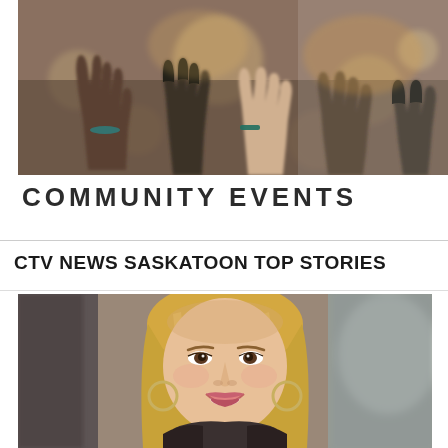[Figure (photo): Crowd of people with raised hands at an event, blurred background, banner-style image]
COMMUNITY EVENTS
CTV NEWS SASKATOON TOP STORIES
[Figure (photo): Portrait of a smiling young woman with blonde hair, hoop earrings, taken inside a vehicle]